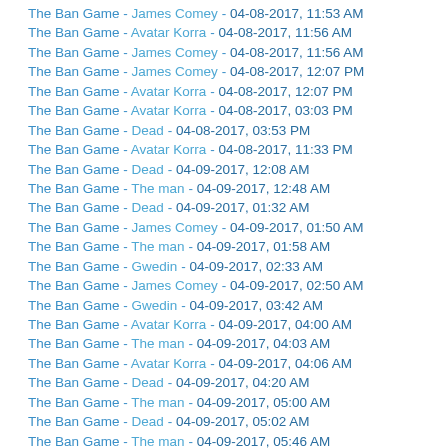The Ban Game - James Comey - 04-08-2017, 11:53 AM
The Ban Game - Avatar Korra - 04-08-2017, 11:56 AM
The Ban Game - James Comey - 04-08-2017, 11:56 AM
The Ban Game - James Comey - 04-08-2017, 12:07 PM
The Ban Game - Avatar Korra - 04-08-2017, 12:07 PM
The Ban Game - Avatar Korra - 04-08-2017, 03:03 PM
The Ban Game - Dead - 04-08-2017, 03:53 PM
The Ban Game - Avatar Korra - 04-08-2017, 11:33 PM
The Ban Game - Dead - 04-09-2017, 12:08 AM
The Ban Game - The man - 04-09-2017, 12:48 AM
The Ban Game - Dead - 04-09-2017, 01:32 AM
The Ban Game - James Comey - 04-09-2017, 01:50 AM
The Ban Game - The man - 04-09-2017, 01:58 AM
The Ban Game - Gwedin - 04-09-2017, 02:33 AM
The Ban Game - James Comey - 04-09-2017, 02:50 AM
The Ban Game - Gwedin - 04-09-2017, 03:42 AM
The Ban Game - Avatar Korra - 04-09-2017, 04:00 AM
The Ban Game - The man - 04-09-2017, 04:03 AM
The Ban Game - Avatar Korra - 04-09-2017, 04:06 AM
The Ban Game - Dead - 04-09-2017, 04:20 AM
The Ban Game - The man - 04-09-2017, 05:00 AM
The Ban Game - Dead - 04-09-2017, 05:02 AM
The Ban Game - The man - 04-09-2017, 05:46 AM